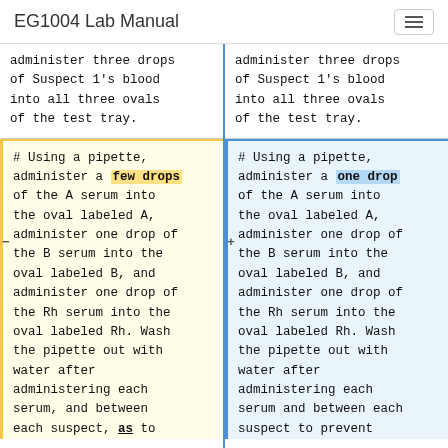EG1004 Lab Manual
administer three drops of Suspect 1's blood into all three ovals of the test tray.
administer three drops of Suspect 1's blood into all three ovals of the test tray.
# Using a pipette, administer a few drops of the A serum into the oval labeled A, administer one drop of the B serum into the oval labeled B, and administer one drop of the Rh serum into the oval labeled Rh. Wash the pipette out with water after administering each serum, and between each suspect, as to
# Using a pipette, administer a one drop of the A serum into the oval labeled A, administer one drop of the B serum into the oval labeled B, and administer one drop of the Rh serum into the oval labeled Rh. Wash the pipette out with water after administering each serum and between each suspect to prevent